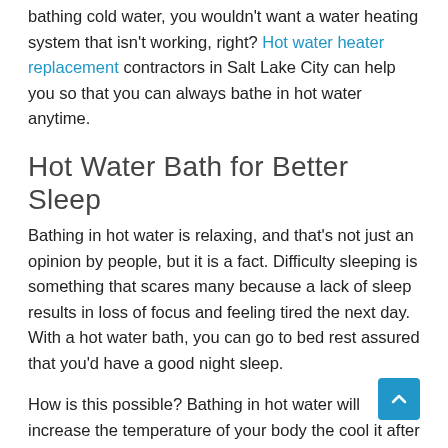bathing cold water, you wouldn't want a water heating system that isn't working, right? Hot water heater replacement contractors in Salt Lake City can help you so that you can always bathe in hot water anytime.
Hot Water Bath for Better Sleep
Bathing in hot water is relaxing, and that's not just an opinion by people, but it is a fact. Difficulty sleeping is something that scares many because a lack of sleep results in loss of focus and feeling tired the next day. With a hot water bath, you can go to bed rest assured that you'd have a good night sleep.
How is this possible? Bathing in hot water will increase the temperature of your body the cool it after soaking. Through this process, your melatonin (sleeping hormone) level will increase which promotes better sleep for you.